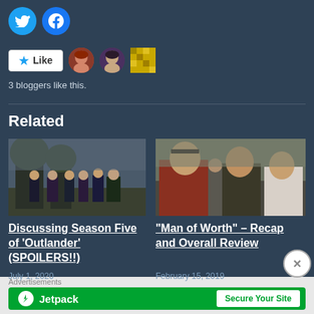[Figure (other): Twitter and Facebook share buttons (circular blue icons)]
[Figure (other): Like button with star icon and three blogger avatar thumbnails]
3 bloggers like this.
Related
[Figure (photo): Outlander Season 5 group photo - characters in historical costumes outdoors]
Discussing Season Five of ‘Outlander’ (SPOILERS!!)
July 1, 2020
[Figure (photo): Man of Worth - Outlander characters in a crowd scene]
“Man of Worth” – Recap and Overall Review
February 15, 2019
Advertisements
[Figure (other): Jetpack advertisement banner with ‘Secure Your Site’ button]